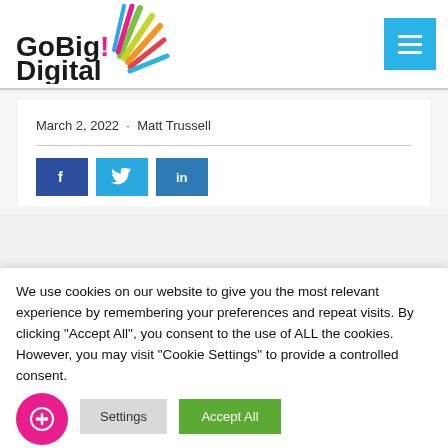[Figure (logo): GoBig Digital logo with colorful fan/rays graphic and bold text]
March 2, 2022  ·  Matt Trussell
[Figure (infographic): Three social share buttons: Facebook (dark blue), Twitter (light blue), LinkedIn (medium blue)]
We use cookies on our website to give you the most relevant experience by remembering your preferences and repeat visits. By clicking "Accept All", you consent to the use of ALL the cookies. However, you may visit "Cookie Settings" to provide a controlled consent.
Settings
Accept All